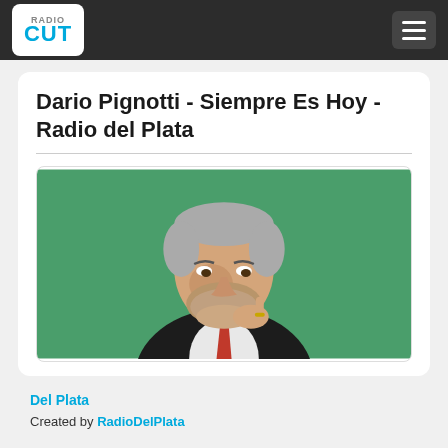RadioCUT navigation bar
Dario Pignotti - Siempre Es Hoy - Radio del Plata
[Figure (photo): Photo of a man in a dark suit and red tie, with grey hair and beard, resting his chin on his hand in front of a green background]
Del Plata
Created by RadioDelPlata